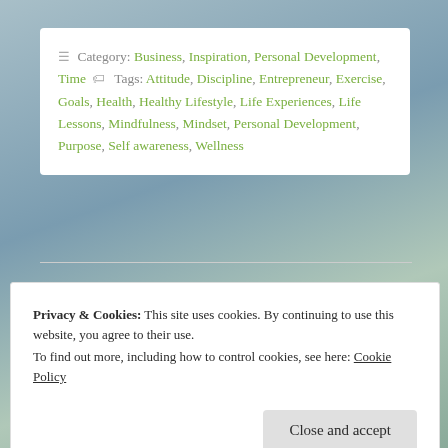≡ Category: Business, Inspiration, Personal Development, Time  🏷 Tags: Attitude, Discipline, Entrepreneur, Exercise, Goals, Health, Healthy Lifestyle, Life Experiences, Life Lessons, Mindfulness, Mindset, Personal Development, Purpose, Self awareness, Wellness
Privacy & Cookies: This site uses cookies. By continuing to use this website, you agree to their use. To find out more, including how to control cookies, see here: Cookie Policy
Close and accept
Development, Purpose, Success